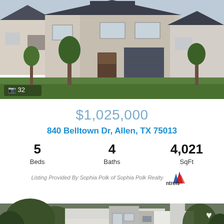[Figure (photo): Front exterior photo of a two-story brick and stone home with gray garage door, trees in front yard, and green lawn. Camera icon with '32' photo count overlay at bottom left.]
$1,025,000
840 Belltown Dr, Allen, TX 75013
5 Beds   4 Baths   4,021 SqFt
Listing Provided By Sophia Polk of Sophia Polk Realty  ntreis
[Figure (photo): Front exterior photo of a modern two-story home with white siding, dark roof, stone accents, and trees in yard. Heart icon at top right.]